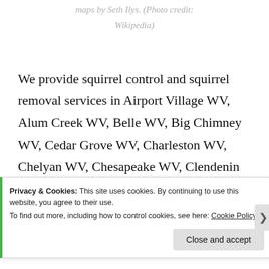maps by Seth Ilys. (Photo credit: Wikipedia)
We provide squirrel control and squirrel removal services in Airport Village WV, Alum Creek WV, Belle WV, Big Chimney WV, Cedar Grove WV, Charleston WV, Chelyan WV, Chesapeake WV, Clendenin WV, Coal Fork WV,
Privacy & Cookies: This site uses cookies. By continuing to use this website, you agree to their use.
To find out more, including how to control cookies, see here: Cookie Policy
Close and accept